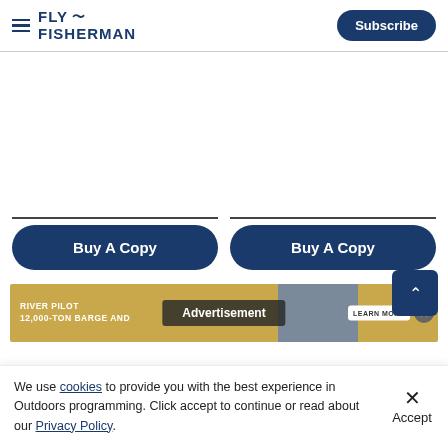FLY FISHERMAN — Subscribe
[Figure (screenshot): White blank content area]
[Figure (other): Two 'Buy A Copy' buttons side by side with dark rules above]
[Figure (other): Advertisement banner: RIVER PILOT 12,000-TON BARGE AND with 'Advertisement' overlay label, LEARN MORE button, and close X]
We use cookies to provide you with the best experience in Outdoors programming. Click accept to continue or read about our Privacy Policy.